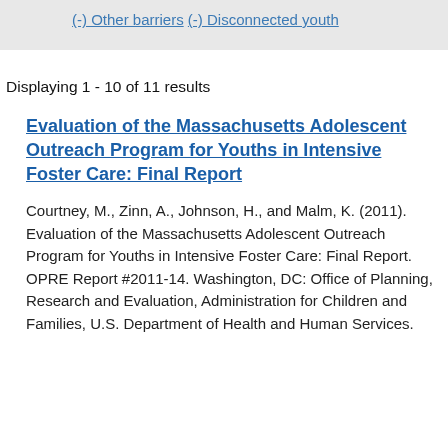(-) Other barriers
(-) Disconnected youth
Displaying 1 - 10 of 11 results
Evaluation of the Massachusetts Adolescent Outreach Program for Youths in Intensive Foster Care: Final Report
Courtney, M., Zinn, A., Johnson, H., and Malm, K. (2011). Evaluation of the Massachusetts Adolescent Outreach Program for Youths in Intensive Foster Care: Final Report. OPRE Report #2011-14. Washington, DC: Office of Planning, Research and Evaluation, Administration for Children and Families, U.S. Department of Health and Human Services.